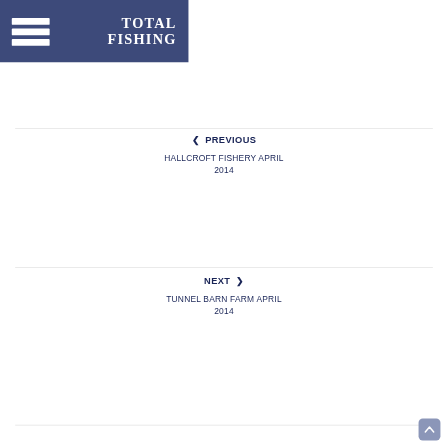TOTAL FISHING
◀ PREVIOUS
HALLCROFT FISHERY APRIL 2014
NEXT ▶
TUNNEL BARN FARM APRIL 2014